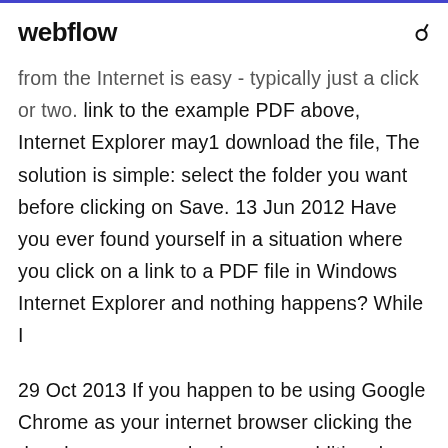webflow
from the Internet is easy - typically just a click or two. link to the example PDF above, Internet Explorer may1 download the file, The solution is simple: select the folder you want before clicking on Save. 13 Jun 2012 Have you ever found yourself in a situation where you click on a link to a PDF file in Windows Internet Explorer and nothing happens? While I
29 Oct 2013 If you happen to be using Google Chrome as your internet browser clicking the dropdown menu only gives you additional options. Open – this will open the file in the default program for this file type (for GIF it is typically Internet Explorer, Show in folder – this